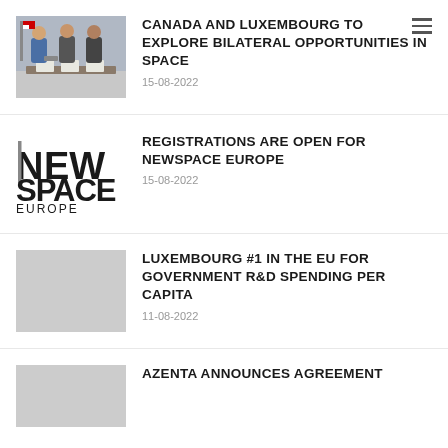[Figure (photo): Three people standing at a signing table with documents; flags visible in background.]
CANADA AND LUXEMBOURG TO EXPLORE BILATERAL OPPORTUNITIES IN SPACE
15-08-2022
[Figure (logo): NewSpace Europe logo — stylized N with vertical bar, bold text NEW SPACE EUROPE]
REGISTRATIONS ARE OPEN FOR NEWSPACE EUROPE
15-08-2022
[Figure (photo): Gray placeholder image]
LUXEMBOURG #1 IN THE EU FOR GOVERNMENT R&D SPENDING PER CAPITA
11-08-2022
[Figure (photo): Gray placeholder image]
AZENTA ANNOUNCES AGREEMENT